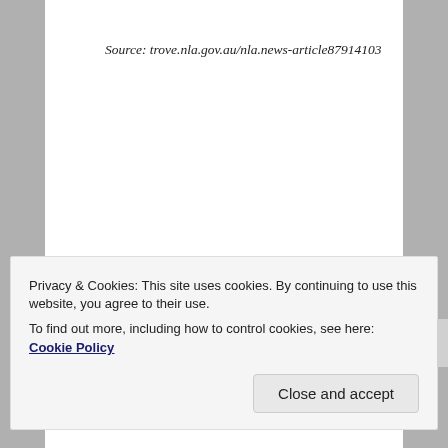Source: trove.nla.gov.au/nla.news-article87914103
SHARE THIS:
Twitter  Facebook
Privacy & Cookies: This site uses cookies. By continuing to use this website, you agree to their use.
To find out more, including how to control cookies, see here: Cookie Policy
Close and accept